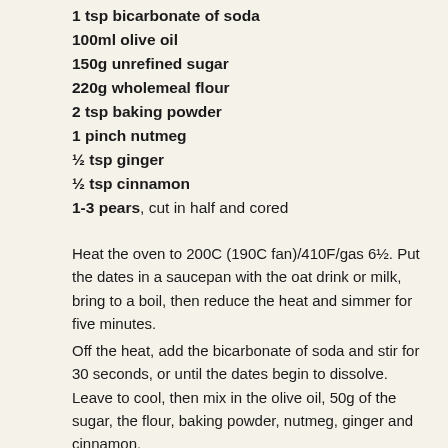1 tsp bicarbonate of soda
100ml olive oil
150g unrefined sugar
220g wholemeal flour
2 tsp baking powder
1 pinch nutmeg
½ tsp ginger
½ tsp cinnamon
1-3 pears, cut in half and cored
Heat the oven to 200C (190C fan)/410F/gas 6½. Put the dates in a saucepan with the oat drink or milk, bring to a boil, then reduce the heat and simmer for five minutes.
Off the heat, add the bicarbonate of soda and stir for 30 seconds, or until the dates begin to dissolve. Leave to cool, then mix in the olive oil, 50g of the sugar, the flour, baking powder, nutmeg, ginger and cinnamon.
Grease and line a medium-sized cake tin. Sprinkle the rest of the sugar over the base of the tin. If you have only one pear, slice it and lay it out over the base of the tin; if you have two...